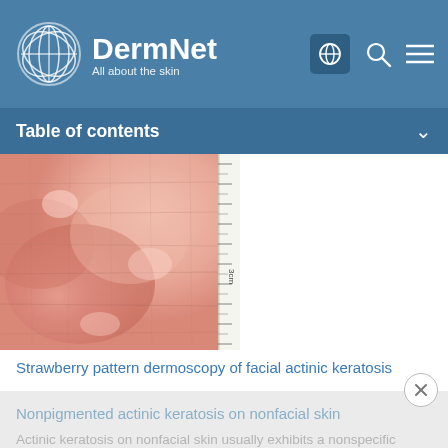DermNet — All about the skin
Table of contents
[Figure (photo): Close-up dermoscopy photograph showing strawberry pattern of facial actinic keratosis — pink/red scaly skin texture with ruler scale on right edge]
Strawberry pattern dermoscopy of facial actinic keratosis
Nonpigmented actinic keratosis on nonfacial skin
Actinic keratosis on nonfacial skin usually exhibits a nonspecific pattern. Features may include: